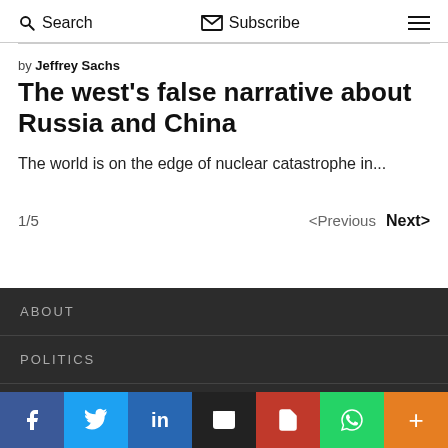Search  Subscribe
by Jeffrey Sachs
The west's false narrative about Russia and China
The world is on the edge of nuclear catastrophe in...
1/5  <Previous  Next>
ABOUT
POLITICS
WORLD